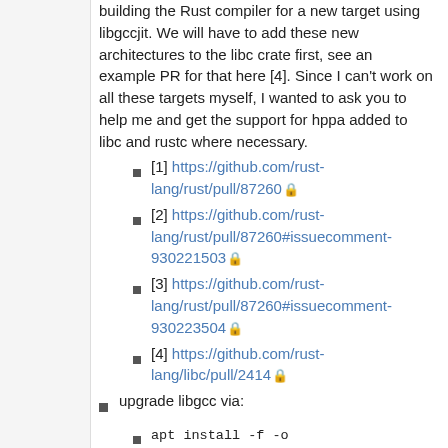building the Rust compiler for a new target using libgccjit. We will have to add these new architectures to the libc crate first, see an example PR for that here [4]. Since I can't work on all these targets myself, I wanted to ask you to help me and get the support for hppa added to libc and rustc where necessary.
[1] https://github.com/rust-lang/rust/pull/87260 🔒
[2] https://github.com/rust-lang/rust/pull/87260#issuecomment-930221503 🔒
[3] https://github.com/rust-lang/rust/pull/87260#issuecomment-930223504 🔒
[4] https://github.com/rust-lang/libc/pull/2414 🔒
upgrade libgcc via:
apt install -f -o Dpkg::Options::="--force-overwrite"
see: